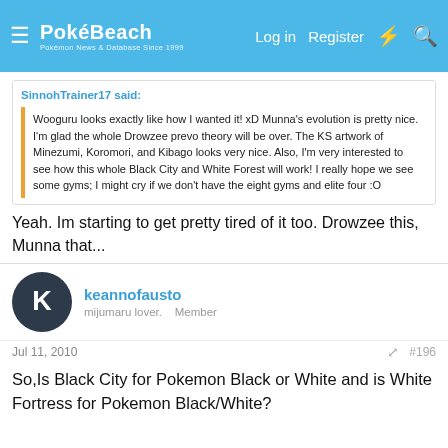PokéBeach — Log in  Register
SinnohTrainer17 said:
Wooguru looks exactly like how I wanted it! xD Munna's evolution is pretty nice. I'm glad the whole Drowzee prevo theory will be over. The KS artwork of Minezumi, Koromori, and Kibago looks very nice. Also, I'm very interested to see how this whole Black City and White Forest will work! I really hope we see some gyms; I might cry if we don't have the eight gyms and elite four :O
Yeah. Im starting to get pretty tired of it too. Drowzee this, Munna that...
keannofausto
mijumaru lover.   Member
Jul 11, 2010
#196
So,Is Black City for Pokemon Black or White and is White Fortress for Pokemon Black/White?